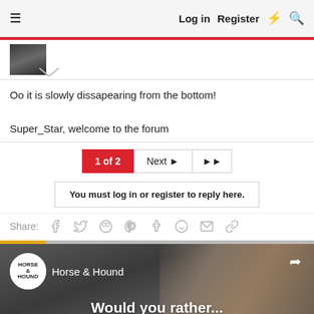Log in   Register
[Figure (photo): User avatar thumbnail image]
Oo it is slowly dissapearing from the bottom!

Super_Star, welcome to the forum
1 of 2   Next ▶   ▶▶
You must log in or register to reply here.
Share:
[Figure (photo): Horse & Hound video thumbnail showing horses with text 'Would you rather...']